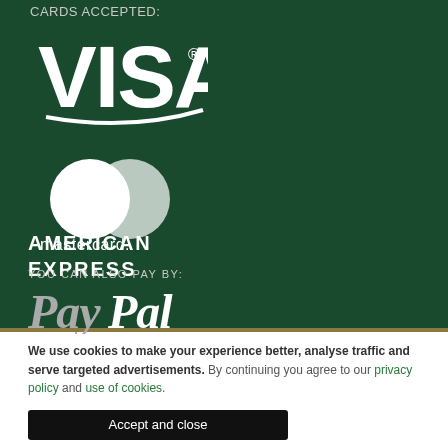CARDS ACCEPTED:
[Figure (logo): Visa logo in white on dark green background]
[Figure (logo): Mastercard logo in white on dark green background]
[Figure (logo): American Express logo in white on dark green background]
YOU CAN ALSO PAY BY:
[Figure (logo): PayPal logo in grey/silver italic text]
We use cookies to make your experience better, analyse traffic and serve targeted advertisements. By continuing you agree to our privacy policy and use of cookies.
Accept and close